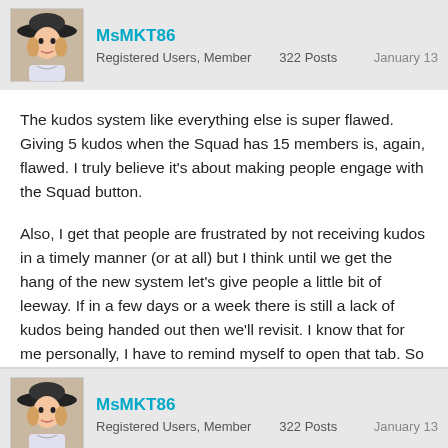[Figure (illustration): User avatar showing an illustrated woman with a wide-brimmed hat]
MsMKT86
Registered Users, Member   322 Posts   January 13
The kudos system like everything else is super flawed. Giving 5 kudos when the Squad has 15 members is, again, flawed. I truly believe it's about making people engage with the Squad button.

Also, I get that people are frustrated by not receiving kudos in a timely manner (or at all) but I think until we get the hang of the new system let's give people a little bit of leeway. If in a few days or a week there is still a lack of kudos being handed out then we'll revisit. I know that for me personally, I have to remind myself to open that tab. So maybe others aren't used to it yet either. Idk. 🤷
[Figure (illustration): User avatar showing an illustrated woman with a wide-brimmed hat]
MsMKT86
Registered Users, Member   322 Posts   January 13